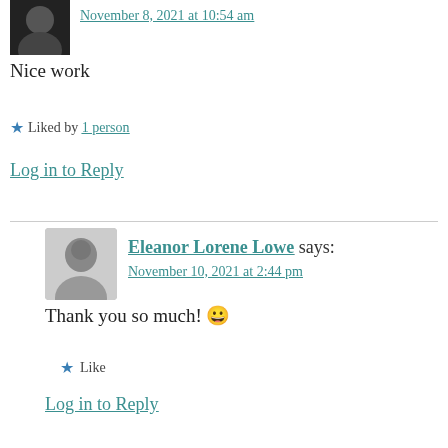November 8, 2021 at 10:54 am
Nice work
Liked by 1 person
Log in to Reply
Eleanor Lorene Lowe says:
November 10, 2021 at 2:44 pm
Thank you so much! 😀
Like
Log in to Reply